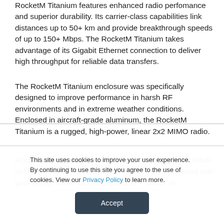RocketM Titanium features enhanced radio perfomance and superior durability. Its carrier-class capabilities link distances up to 50+ km and provide breakthrough speeds of up to 150+ Mbps. The RocketM Titanium takes advantage of its Gigabit Ethernet connection to deliver high throughput for reliable data transfers.
The RocketM Titanium enclosure was specifically designed to improve performance in harsh RF environments and in extreme weather conditions. Enclosed in aircraft-grade aluminum, the RocketM Titanium is a rugged, high-power, linear 2x2 MIMO radio.
Rocket devices may be deployed in PtP bridging or PtMP airMAX BaseStation applications. They can be paired with your choice of airMAX BaseStation™ Sector or
This site uses cookies to improve your user experience. By continuing to use this site you agree to the use of cookies. View our Privacy Policy to learn more.